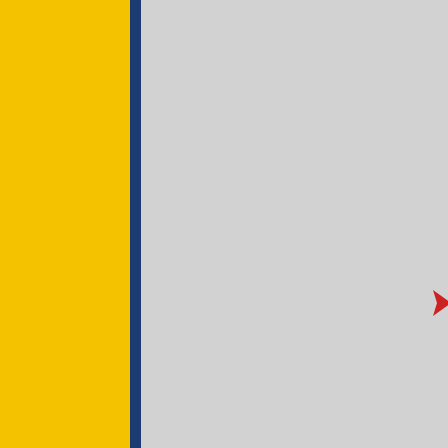Uniform
Blue BSA uniform
Orange Tiger neckerchief a…
Tiger Handbook
Image copied from www.keyword-suggest…
Text copied from cubscouts.org
[Figure (illustration): Red diamond/arrow shape pointing left]
A wolf cub is a scout who…
Like all new Cub Scouts,…
After completing the requ…
complete the requiremen…